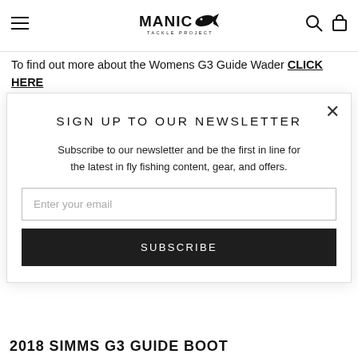MANIC TACKLE PROJECT
To find out more about the Womens G3 Guide Wader CLICK HERE
SIGN UP TO OUR NEWSLETTER
Subscribe to our newsletter and be the first in line for the latest in fly fishing content, gear, and offers.
Enter your email
SUBSCRIBE
2018 SIMMS G3 GUIDE BOOT